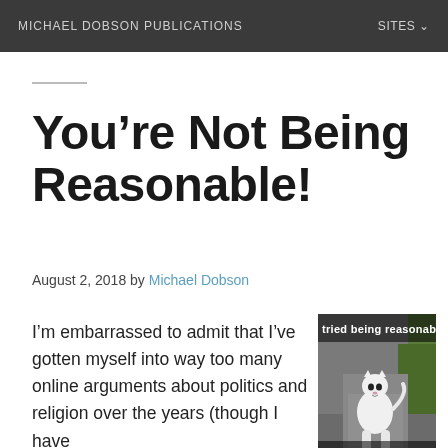MICHAEL DOBSON PUBLICATIONS   SITES
You’re Not Being Reasonable!
August 2, 2018 by Michael Dobson
I’m embarrassed to admit that I’ve gotten myself into way too many online arguments about politics and religion over the years (though I have
[Figure (photo): Internet meme showing a white cat walking toward the camera with text: 'tried being reasonabl' at the top and 'I didn't like it' at the bottom.]